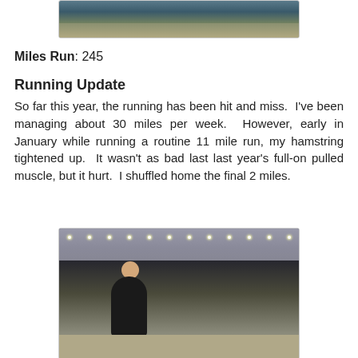[Figure (photo): Partial photo of a person outdoors in a winter/snowy setting, cropped at top of page]
Miles Run: 245
Running Update
So far this year, the running has been hit and miss.  I've been managing about 30 miles per week.  However, early in January while running a routine 11 mile run, my hamstring tightened up.  It wasn't as bad last last year's full-on pulled muscle, but it hurt.  I shuffled home the final 2 miles.
[Figure (photo): Photo of a bald man in a black t-shirt standing inside a large convention center or expo hall with overhead lights and other people in the background]